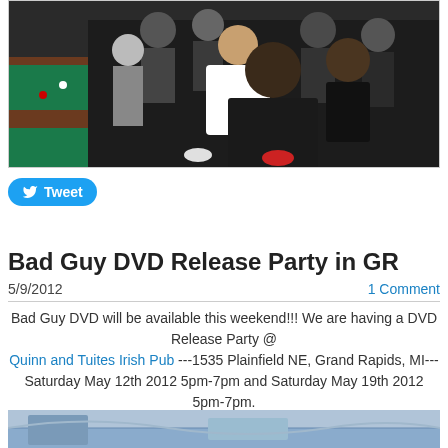[Figure (photo): Group photo of people gathered around a pool table in a bar/club setting.]
Tweet
0 Comments
Bad Guy DVD Release Party in GR
5/9/2012
1 Comment
Bad Guy DVD will be available this weekend!!! We are having a DVD Release Party @ Quinn and Tuites Irish Pub ---1535 Plainfield NE, Grand Rapids, MI--- Saturday May 12th 2012 5pm-7pm and Saturday May 19th 2012 5pm-7pm.
[Figure (photo): Partial photo visible at bottom of page, appears to be another event or location photo.]